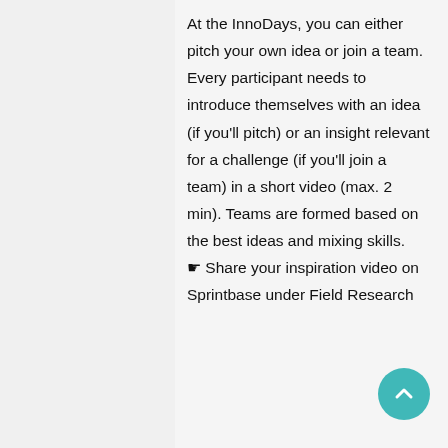At the InnoDays, you can either pitch your own idea or join a team. Every participant needs to introduce themselves with an idea (if you'll pitch) or an insight relevant for a challenge (if you'll join a team) in a short video (max. 2 min). Teams are formed based on the best ideas and mixing skills.
☛ Share your inspiration video on Sprintbase under Field Research